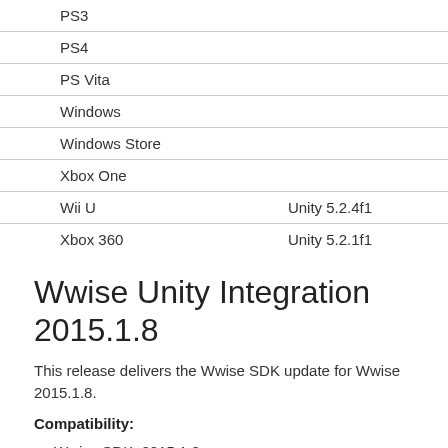| PS3 |  |
| PS4 |  |
| PS Vita |  |
| Windows |  |
| Windows Store |  |
| Xbox One |  |
| Wii U | Unity 5.2.4f1 |
| Xbox 360 | Unity 5.2.1f1 |
Wwise Unity Integration 2015.1.8
This release delivers the Wwise SDK update for Wwise 2015.1.8.
Compatibility:
Wwise SDK: 2015.1.8
Unity: Unity 4.6 Pro or Unity 5.3 (Personal or Pro)
| Platforms: | Wwise Unity Integration tested on: |
| --- | --- |